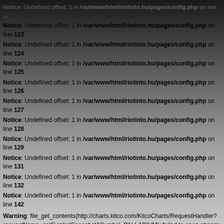Notice: Undefined offset: 1 in /var/www/html/riotinto.hu/pages/config.php on line 123
Notice: Undefined offset: 1 in /var/www/html/riotinto.hu/pages/config.php on line 124
Notice: Undefined offset: 1 in /var/www/html/riotinto.hu/pages/config.php on line 125
Notice: Undefined offset: 1 in /var/www/html/riotinto.hu/pages/config.php on line 126
Notice: Undefined offset: 1 in /var/www/html/riotinto.hu/pages/config.php on line 127
Notice: Undefined offset: 1 in /var/www/html/riotinto.hu/pages/config.php on line 128
Notice: Undefined offset: 1 in /var/www/html/riotinto.hu/pages/config.php on line 129
Notice: Undefined offset: 1 in /var/www/html/riotinto.hu/pages/config.php on line 131
Notice: Undefined offset: 1 in /var/www/html/riotinto.hu/pages/config.php on line 132
Notice: Undefined offset: 1 in /var/www/html/riotinto.hu/pages/config.php on line 142
Warning: file_get_contents(http://charts.kitco.com/KitcoCharts/RequestHandler?requestName=getSymbolSnapshot&Symbol=PALLADIUM): failed to open stream: HTTP request failed! HTTP/1.1 404 Not Found in /var/www/html/riotinto.hu/pages/config.php on line 257
Notice: Undefined offset: 1 in /var/www/html/riotinto.hu/pages/config.php on line 268